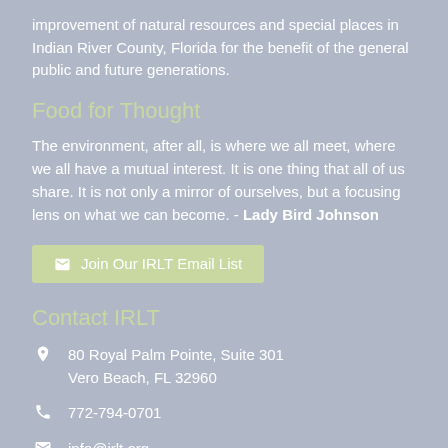improvement of natural resources and special places in Indian River County, Florida for the benefit of the general public and future generations.
Food for Thought
The environment, after all, is where we all meet, where we all have a mutual interest. It is one thing that all of us share. It is not only a mirror of ourselves, but a focusing lens on what we can become. - Lady Bird Johnson
✉ Join Our IRLT Email List
Contact IRLT
📍 80 Royal Palm Pointe, Suite 301 Vero Beach, FL 32960
📞 772-794-0701
✉ info@irlt.org